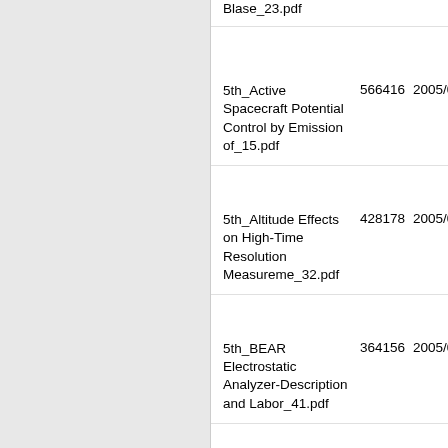| Name | Size | Date |
| --- | --- | --- |
| Blase_23.pdf |  |  |
| 5th_Active Spacecraft Potential Control by Emission of_15.pdf | 566416 | 2005/05/04 |
| 5th_Altitude Effects on High-Time Resolution Measureme_32.pdf | 428178 | 2005/05/04 |
| 5th_BEAR Electrostatic Analyzer-Description and Labor_41.pdf | 364156 | 2005/05/04 |
| 5th_BEAR Electrostatic Analyzer-Flight | 270257 | 2005/05/04 |